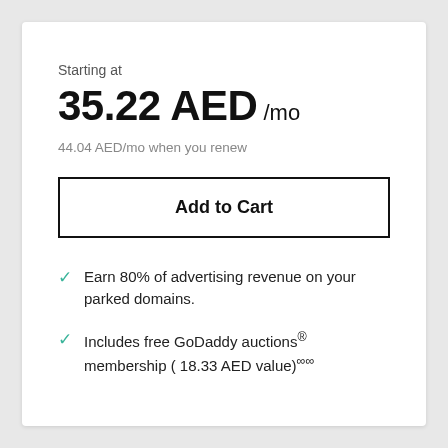Starting at
35.22 AED /mo
44.04 AED/mo when you renew
Add to Cart
Earn 80% of advertising revenue on your parked domains.
Includes free GoDaddy auctions® membership ( 18.33 AED value)∞∞